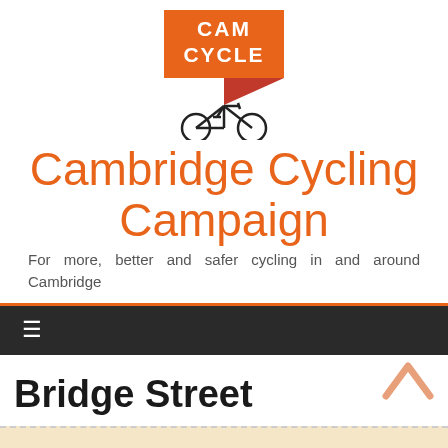[Figure (logo): CamCycle logo with orange badge showing CAM CYCLE text, a dark red triangle/pennant, and a bicycle icon below]
Cambridge Cycling Campaign
For more, better and safer cycling in and around Cambridge
≡ (navigation menu)
Bridge Street